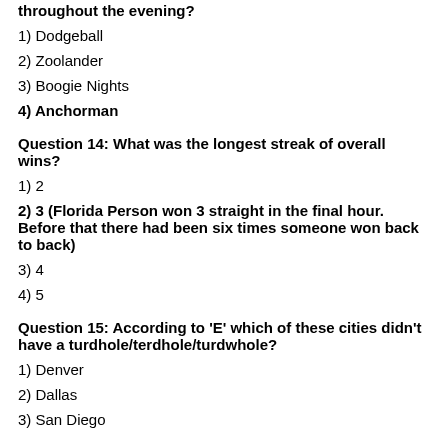throughout the evening?
1) Dodgeball
2) Zoolander
3) Boogie Nights
4) Anchorman
Question 14: What was the longest streak of overall wins?
1) 2
2) 3 (Florida Person won 3 straight in the final hour. Before that there had been six times someone won back to back)
3) 4
4) 5
Question 15: According to 'E' which of these cities didn't have a turdhole/terdhole/turdwhole?
1) Denver
2) Dallas
3) San Diego